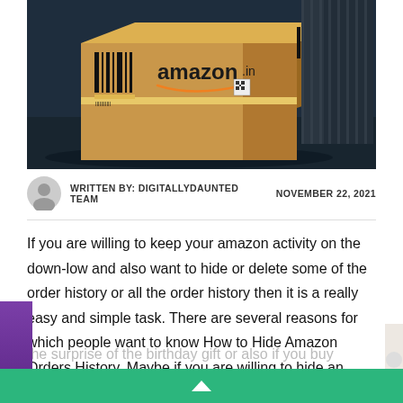[Figure (photo): Amazon shipping boxes on a dark surface, showing the Amazon logo and barcode labels]
WRITTEN BY: DIGITALLYDAUNTED TEAM   NOVEMBER 22, 2021
If you are willing to keep your amazon activity on the down-low and also want to hide or delete some of the order history or all the order history then it is a really easy and simple task. There are several reasons for which people want to know How to Hide Amazon Orders History. Maybe if you are willing to hide an occasional purchase from history then you can't spoil the surprise of the birthday gift or also if you buy